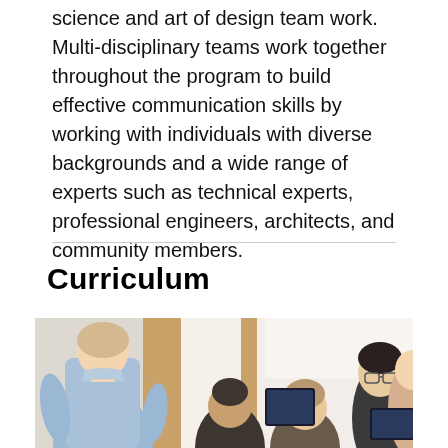science and art of design team work. Multi-disciplinary teams work together throughout the program to build effective communication skills by working with individuals with diverse backgrounds and a wide range of experts such as technical experts, professional engineers, architects, and community members.
Curriculum
[Figure (photo): Group of people working together in an office or classroom setting. A man in a light blue shirt is standing and leaning over, viewed from behind. Several other people are seated, including a woman and a man with glasses on the right side.]